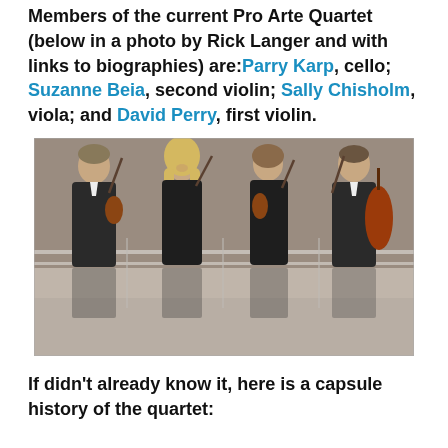Members of the current Pro Arte Quartet (below in a photo by Rick Langer and with links to biographies) are: Parry Karp, cello; Suzanne Beia, second violin; Sally Chisholm, viola; and David Perry, first violin.
[Figure (photo): Four members of the Pro Arte Quartet standing together holding their instruments (violins, viola, cello) and bows, dressed in formal black attire, in front of a glass railing. Photo by Rick Langer.]
If didn't already know it, here is a capsule history of the quartet: